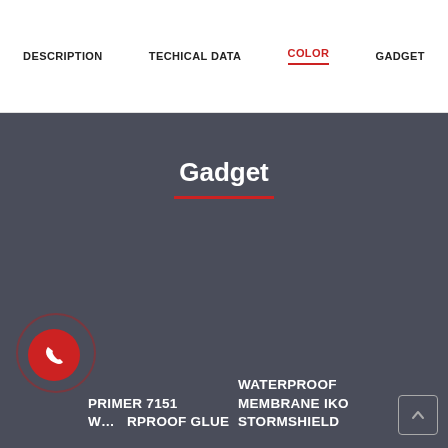DESCRIPTION   TECHICAL DATA   COLOR   GADGET
Gadget
PRIMER 7151
WATERPROOF GLUE
WATERPROOF MEMBRANE IKO STORMSHIELD